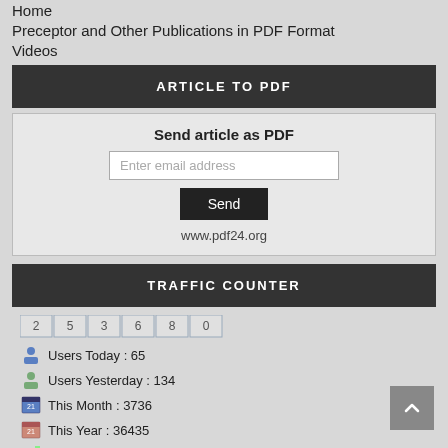Home
Preceptor and Other Publications in PDF Format
Videos
ARTICLE TO PDF
Send article as PDF
Enter email address
Send
www.pdf24.org
TRAFFIC COUNTER
253680
Users Today : 65
Users Yesterday : 134
This Month : 3736
This Year : 36435
Total Users : 253680
Views Today : 157